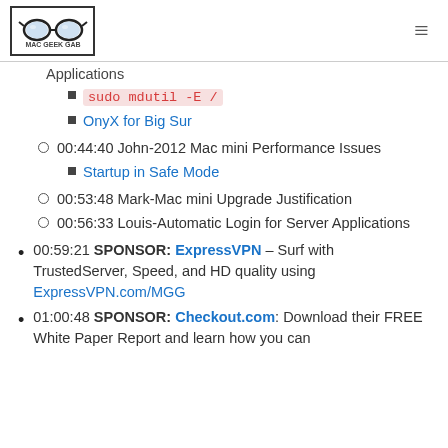Mac Geek Gab logo and hamburger menu
Applications
sudo mdutil -E /
OnyX for Big Sur
00:44:40 John-2012 Mac mini Performance Issues
Startup in Safe Mode
00:53:48 Mark-Mac mini Upgrade Justification
00:56:33 Louis-Automatic Login for Server Applications
00:59:21 SPONSOR: ExpressVPN – Surf with TrustedServer, Speed, and HD quality using ExpressVPN.com/MGG
01:00:48 SPONSOR: Checkout.com: Download their FREE White Paper Report and learn how you can